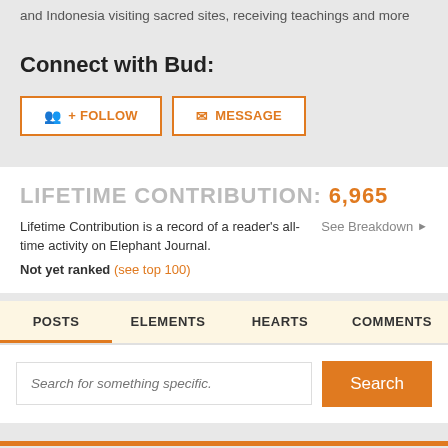and Indonesia visiting sacred sites, receiving teachings and more
Connect with Bud:
FOLLOW  MESSAGE
LIFETIME CONTRIBUTION: 6,965
Lifetime Contribution is a record of a reader's all-time activity on Elephant Journal.  See Breakdown ▶
Not yet ranked (see top 100)
POSTS  ELEMENTS  HEARTS  COMMENTS
Search for something specific.  Search